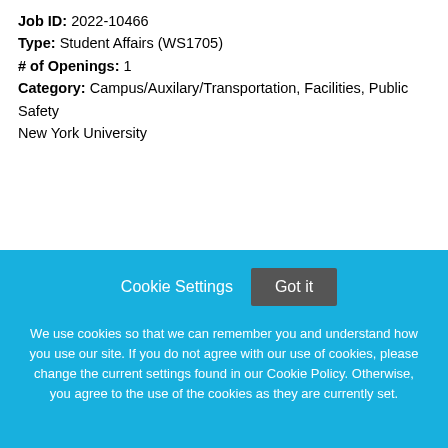Job ID: 2022-10466
Type: Student Affairs (WS1705)
# of Openings: 1
Category: Campus/Auxilary/Transportation, Facilities, Public Safety
New York University
Overview
Supervise Athletic Facility operations and staff during operating hours to ensure the department's standards for customer service, health, safety, and housekeeping are met. Supervise technical and student support staff instructing patrons on and performing routine maintenance of strength and aerobic equipment, maintaining
Cookie Settings  Got it
We use cookies so that we can remember you and understand how you use our site. If you do not agree with our use of cookies, please change the current settings found in our Cookie Policy. Otherwise, you agree to the use of the cookies as they are currently set.